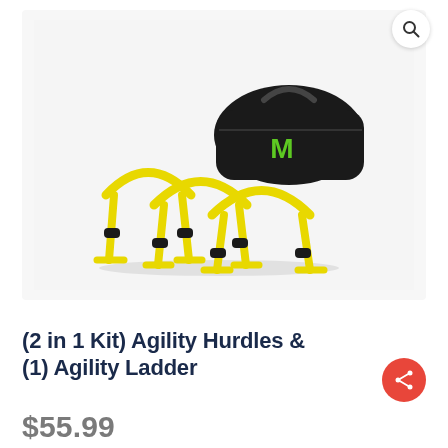[Figure (photo): Yellow agility hurdles (set of 4) and a black carrying bag with green logo, arranged on a white background.]
(2 in 1 Kit) Agility Hurdles & (1) Agility Ladder
$55.99